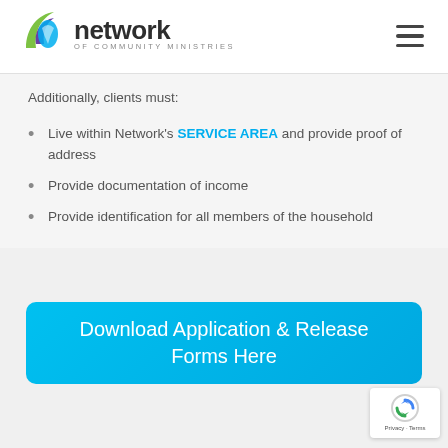[Figure (logo): Network of Community Ministries logo with colorful icon and bold text]
Additionally, clients must:
Live within Network's SERVICE AREA and provide proof of address
Provide documentation of income
Provide identification for all members of the household
Download Application & Release Forms Here
[Figure (other): reCAPTCHA Privacy - Terms badge]